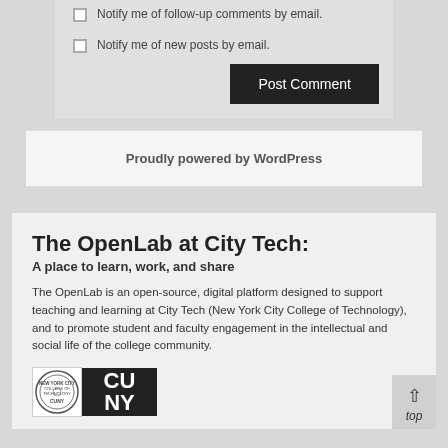Notify me of follow-up comments by email.
Notify me of new posts by email.
Post Comment
Proudly powered by WordPress
The OpenLab at City Tech:
A place to learn, work, and share
The OpenLab is an open-source, digital platform designed to support teaching and learning at City Tech (New York City College of Technology), and to promote student and faculty engagement in the intellectual and social life of the college community.
[Figure (logo): City Tech and CUNY logos side by side]